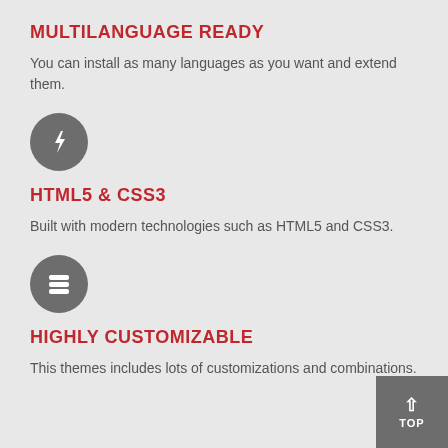MULTILANGUAGE READY
You can install as many languages as you want and extend them.
[Figure (illustration): Gray circle with lightning bolt icon]
HTML5 & CSS3
Built with modern technologies such as HTML5 and CSS3.
[Figure (illustration): Gray circle with database/layers icon]
HIGHLY CUSTOMIZABLE
This themes includes lots of customizations and combinations.